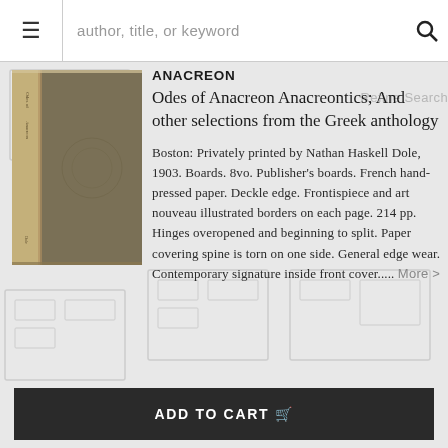author, title, or keyword
[Figure (photo): A photograph of a book with tan/beige spine and dark olive/brown boards cover]
ANACREON
Odes of Anacreon Anacreontics; And other selections from the Greek anthology
Boston: Privately printed by Nathan Haskell Dole, 1903. Boards. 8vo. Publisher's boards. French hand-pressed paper. Deckle edge. Frontispiece and art nouveau illustrated borders on each page. 214 pp. Hinges overopened and beginning to split. Paper covering spine is torn on one side. General edge wear. Contemporary signature inside front cover..... More >
ADD TO CART